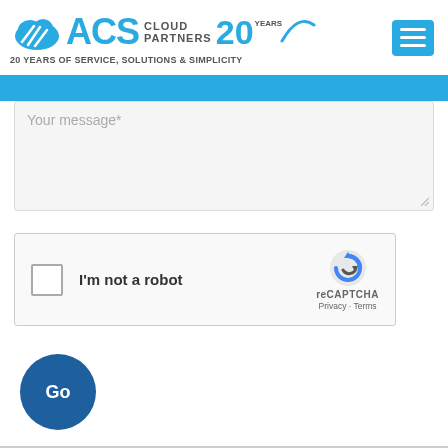[Figure (logo): ACS Cloud Partners logo with '20 Years' badge and tagline '20 Years of Service, Solutions & Simplicity']
[Figure (screenshot): Hamburger menu button (three horizontal lines) in blue rounded square]
Your message*
[Figure (screenshot): reCAPTCHA widget with checkbox labeled 'I'm not a robot', reCAPTCHA logo, Privacy and Terms links]
[Figure (screenshot): Go button - dark blue circular button with text 'Go']